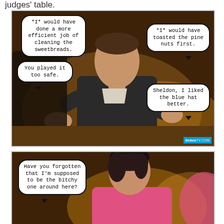judges' table.
[Figure (photo): Meme image of a man in a suit at what appears to be a judges' table with four speech bubbles: '*I* would have done a more efficient job of cleaning the sweetbreads.', 'You played it too safe.', '*I* would have toasted the pine nuts first.', 'Sheldon, I liked the blue hat better.' Bravo TV logo in bottom right corner.]
[Figure (photo): Meme image of a woman with dark hair wearing a pink top, with one speech bubble: 'Have you forgotten that I'm supposed to be the bitchy one around here?']